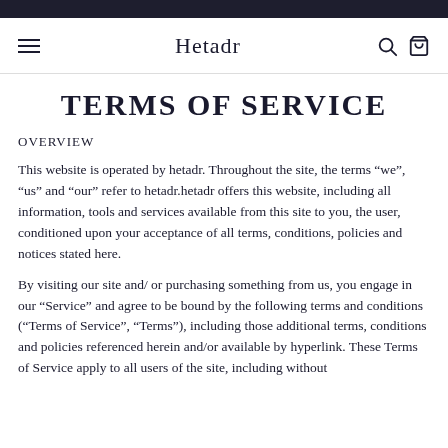Hetadr
TERMS OF SERVICE
OVERVIEW
This website is operated by hetadr. Throughout the site, the terms “we”, “us” and “our” refer to hetadr.hetadr offers this website, including all information, tools and services available from this site to you, the user, conditioned upon your acceptance of all terms, conditions, policies and notices stated here.
By visiting our site and/ or purchasing something from us, you engage in our “Service” and agree to be bound by the following terms and conditions (“Terms of Service”, “Terms”), including those additional terms, conditions and policies referenced herein and/or available by hyperlink. These Terms of Service apply to all users of the site, including without